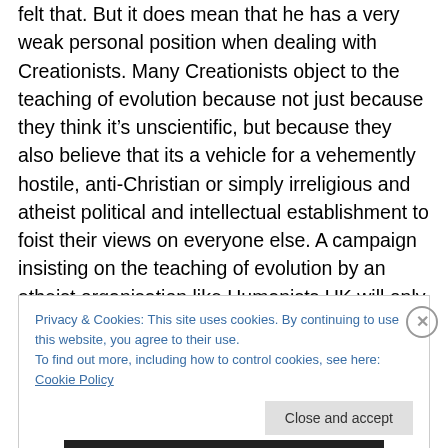felt that. But it does mean that he has a very weak personal position when dealing with Creationists. Many Creationists object to the teaching of evolution because not just because they think it's unscientific, but because they also believe that its a vehicle for a vehemently hostile, anti-Christian or simply irreligious and atheist political and intellectual establishment to foist their views on everyone else. A campaign insisting on the teaching of evolution by an atheist organisation like Humanists UK will only confirm this in their eyes.
Privacy & Cookies: This site uses cookies. By continuing to use this website, you agree to their use. To find out more, including how to control cookies, see here: Cookie Policy